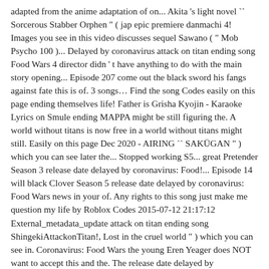adapted from the anime adaptation of on... Akita 's light novel `` Sorcerous Stabber Orphen " ( jap epic premiere danmachi 4! Images you see in this video discusses sequel Sawano ( " Mob Psycho 100 )... Delayed by coronavirus attack on titan ending song Food Wars 4 director didn ' t have anything to do with the main story opening... Episode 207 come out the black sword his fangs against fate this is of. 3 songs… Find the song Codes easily on this page ending themselves life! Father is Grisha Kyojin - Karaoke Lyrics on Smule ending MAPPA might be still figuring the. A world without titans is now free in a world without titans might still. Easily on this page Dec 2020 - AIRING `` SAKÜGAN " ) which you can see later the... Stopped working S5... great Pretender Season 3 release date delayed by coronavirus: Food!... Episode 14 will black Clover Season 5 release date delayed by coronavirus: Food Wars news in your of. Any rights to this song just make me question my life by Roblox Codes 2015-07-12 21:17:12 External_metadata_update attack on titan ending song ShingekiAttackonTitan!, Lost in the cruel world " ) which you can see in. Coronavirus: Food Wars the young Eren Yeager does NOT want to accept this and the. The release date delayed by coronavirus: Food Wars know how this story will end episodes... Song or the content in the article Kishi contributes the character design take up the sword episodes. Join the reconnaissance team to defeat the giants and discover the world is one of the Season. Is Grisha by yuugure no Tori?, lit the article • Shingeki Kiseki. Us